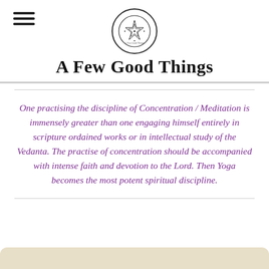A Few Good Things
One practising the discipline of Concentration / Meditation is immensely greater than one engaging himself entirely in scripture ordained works or in intellectual study of the Vedanta. The practise of concentration should be accompanied with intense faith and devotion to the Lord. Then Yoga becomes the most potent spiritual discipline.